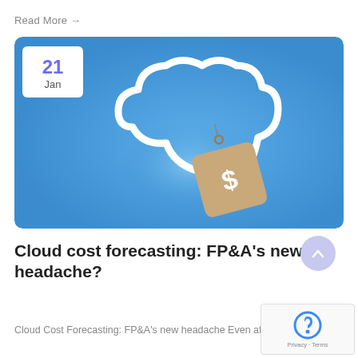Read More →
[Figure (illustration): Blue rounded rectangle card with a white cloud outline icon and a price tag with a dollar sign hanging from it. A white date badge in the upper left shows '21 Jan'.]
Cloud cost forecasting: FP&A's new headache?
Cloud Cost Forecasting: FP&A's new headache Even after 4...